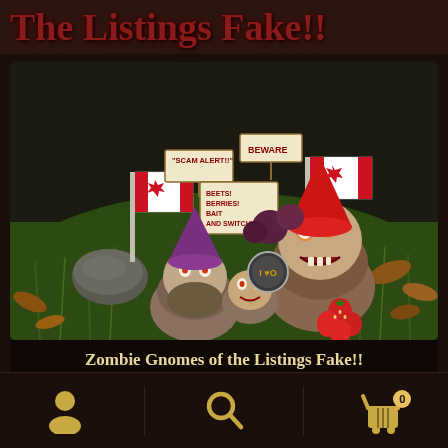The Listings Fake!!
[Figure (photo): A group of zombie gnome figurines surrounded by Canadian flags, strawberries, and small signs reading 'SCAM ALERT!!', 'BEWARE', 'BEETS! BERRIES! BAIT AND SWITCH!' set against green grass and autumn leaves background]
Zombie Gnomes of the Listings Fake!!